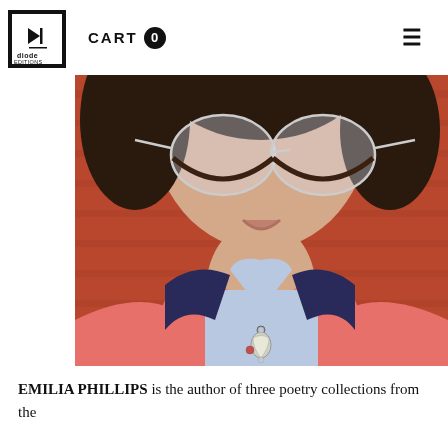CART 0 ☰
[Figure (photo): Close-up photo of Emilia Phillips, a woman with curly dark hair and large clear-framed glasses with dark lower rims, smiling slightly. She wears a pink/coral cardigan over a light blue collared shirt and a dark navy scarf. She has a tooth-shaped pendant necklace. The background is a red brick wall.]
EMILIA PHILLIPS is the author of three poetry collections from the